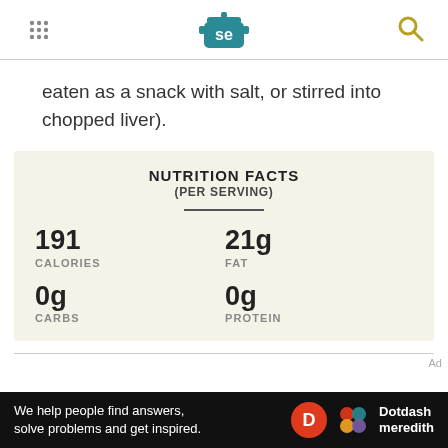Serious Eats header with logo
eaten as a snack with salt, or stirred into chopped liver).
|  |  |
| --- | --- |
| 191 | 21g |
| CALORIES | FAT |
| 0g | 0g |
| CARBS | PROTEIN |
We help people find answers, solve problems and get inspired. Dotdash meredith